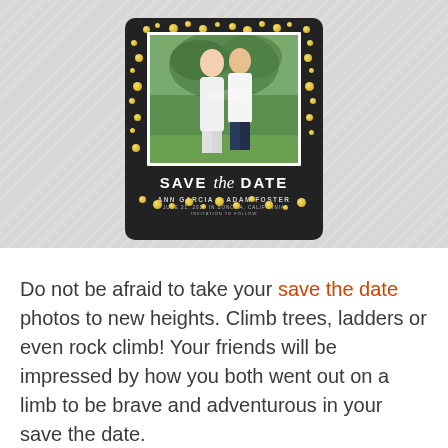[Figure (illustration): A save the date wedding card with a black background decorated with scattered gold confetti dots. The card shows a couple (woman in white dress, man in dark pants) posing in a tree/outdoor setting. Text on the card reads: SAVE THE DATE, ANN GARCIA & ADAM FOSTER, JUNE 21, 2019 IN SONOMA, CALIFORNIA, INVITATION TO FOLLOW. The card is displayed on a gray diagonal-striped background.]
Do not be afraid to take your save the date photos to new heights. Climb trees, ladders or even rock climb! Your friends will be impressed by how you both went out on a limb to be brave and adventurous in your save the date.